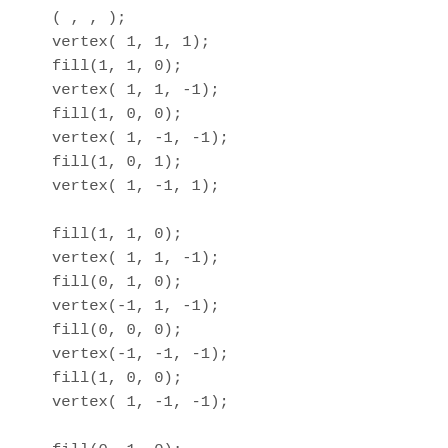( , , );
vertex( 1, 1, 1);
fill(1, 1, 0);
vertex( 1, 1, -1);
fill(1, 0, 0);
vertex( 1, -1, -1);
fill(1, 0, 1);
vertex( 1, -1, 1);

fill(1, 1, 0);
vertex( 1, 1, -1);
fill(0, 1, 0);
vertex(-1, 1, -1);
fill(0, 0, 0);
vertex(-1, -1, -1);
fill(1, 0, 0);
vertex( 1, -1, -1);

fill(0, 1, 0);
vertex(-1, 1, -1);
fill(0, 1, 1);